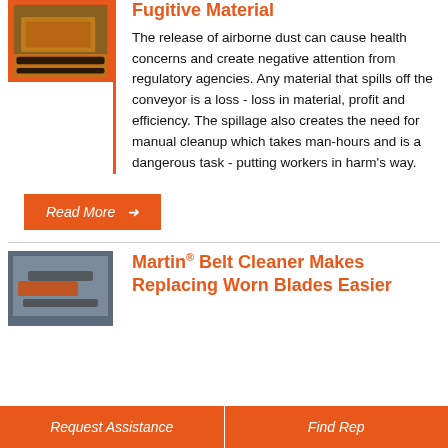[Figure (photo): Industrial conveyor belt with material, orange border]
Fugitive Material
The release of airborne dust can cause health concerns and create negative attention from regulatory agencies. Any material that spills off the conveyor is a loss - loss in material, profit and efficiency. The spillage also creates the need for manual cleanup which takes man-hours and is a dangerous task - putting workers in harm's way.
Read More →
[Figure (photo): Industrial conveyor belt system photo]
Martin® Belt Cleaner Makes Replacing Worn Blades Easier
Request Assistance    Find Rep